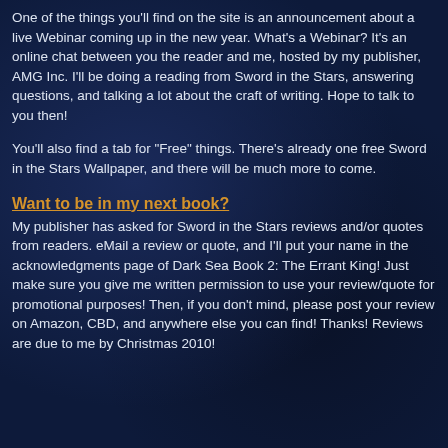One of the things you'll find on the site is an announcement about a live Webinar coming up in the new year. What's a Webinar? It's an online chat between you the reader and me, hosted by my publisher, AMG Inc. I'll be doing a reading from Sword in the Stars, answering questions, and talking a lot about the craft of writing. Hope to talk to you then!
You'll also find a tab for "Free" things. There's already one free Sword in the Stars Wallpaper, and there will be much more to come.
Want to be in my next book?
My publisher has asked for Sword in the Stars reviews and/or quotes from readers. eMail a review or quote, and I'll put your name in the acknowledgments page of Dark Sea Book 2: The Errant King! Just make sure you give me written permission to use your review/quote for promotional purposes! Then, if you don't mind, please post your review on Amazon, CBD, and anywhere else you can find! Thanks! Reviews are due to me by Christmas 2010!